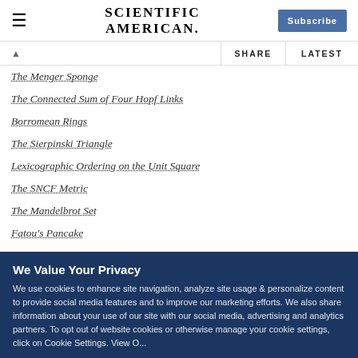Scientific American — Subscribe
The Menger Sponge
The Connected Sum of Four Hopf Links
Borromean Rings
The Sierpinski Triangle
Lexicographic Ordering on the Unit Square
The SNCF Metric
The Mandelbrot Set
Fatou's Pancake
We Value Your Privacy
We use cookies to enhance site navigation, analyze site usage & personalize content to provide social media features and to improve our marketing efforts. We also share information about your use of our site with our social media, advertising and analytics partners. To opt out of website cookies or otherwise manage your cookie settings, click on Cookie Settings. View O...